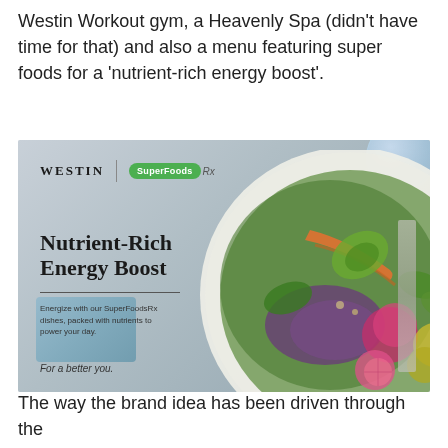Westin Workout gym, a Heavenly Spa (didn't have time for that) and also a menu featuring super foods for a 'nutrient-rich energy boost'.
[Figure (photo): Westin SuperFoodsRx branded menu image showing a colorful salad plate with mixed greens, beets, carrots, avocado and other super foods, with text overlay reading 'Nutrient-Rich Energy Boost' and tagline 'For a better you'. Westin and SuperFoodsRx logos visible in top left, a glass of water in top right, blue napkin and fork on the sides.]
The way the brand idea has been driven through the